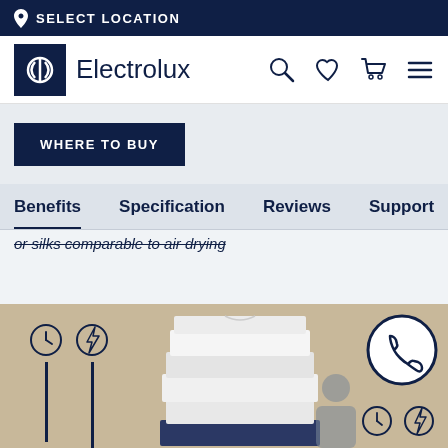SELECT LOCATION
[Figure (logo): Electrolux logo with dark navy square background and white circle-arrow icon, followed by 'Electrolux' text and navigation icons (search, heart, cart, menu)]
WHERE TO BUY
Benefits   Specification   Reviews   Support
or silks comparable to air drying
[Figure (photo): Product lifestyle photo on beige/tan background showing stacked folded white shirts, with clock and lightning bolt icons on left side with vertical bars indicating program time and energy, and a phone/call circular button on the right side]